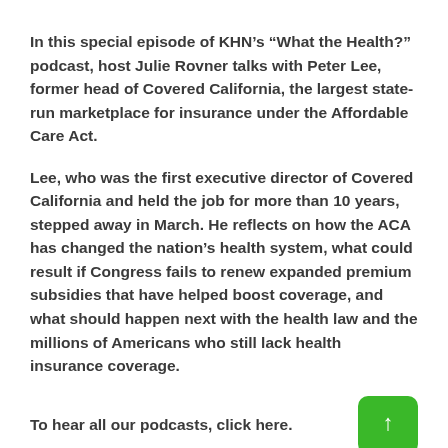In this special episode of KHN’s “What the Health?” podcast, host Julie Rovner talks with Peter Lee, former head of Covered California, the largest state-run marketplace for insurance under the Affordable Care Act.
Lee, who was the first executive director of Covered California and held the job for more than 10 years, stepped away in March. He reflects on how the ACA has changed the nation’s health system, what could result if Congress fails to renew expanded premium subsidies that have helped boost coverage, and what should happen next with the health law and the millions of Americans who still lack health insurance coverage.
To hear all our podcasts, click here.
And subscribe to KHN’s “What the Health?” on Spotify, Apple